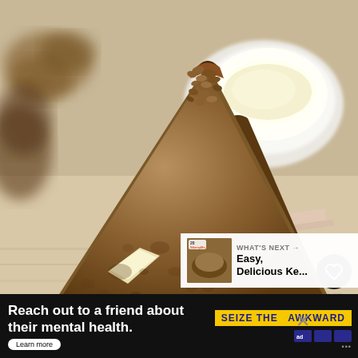[Figure (photo): Close-up photograph of sliced walnut bread with butter on a wooden board, with a white bowl of cream/butter in the background. Rustic food photography.]
142
WHAT'S NEXT → Easy, Delicious Ke...
Reach out to a friend about their mental health. Learn more  SEIZE THE AWKWARD